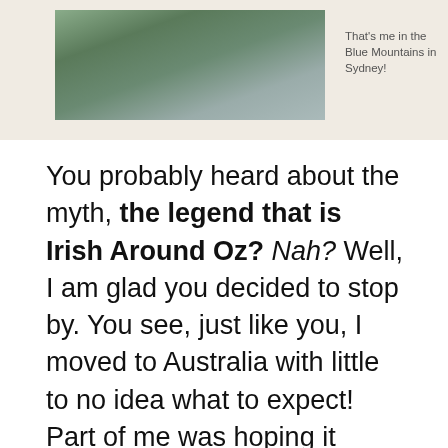[Figure (photo): Photo of a person in the Blue Mountains in Sydney, set within a beige/tan background box at the top of the page.]
That's me in the Blue Mountains in Sydney!
You probably heard about the myth, the legend that is Irish Around Oz? Nah? Well, I am glad you decided to stop by. You see, just like you, I moved to Australia with little to no idea what to expect! Part of me was hoping it would be like a home and away set, but when I rocked up in Perth in 2013, I quickly realized how far from the truth it was.
After leaving Cork in Ireland on a working holiday visa I quickly realized that there were